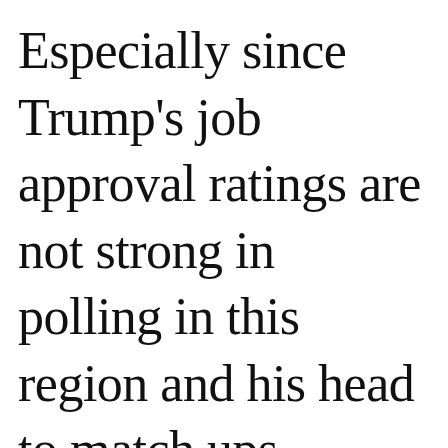Especially since Trump’s job approval ratings are not strong in polling in this region and his head to match ups against Biden in this r...